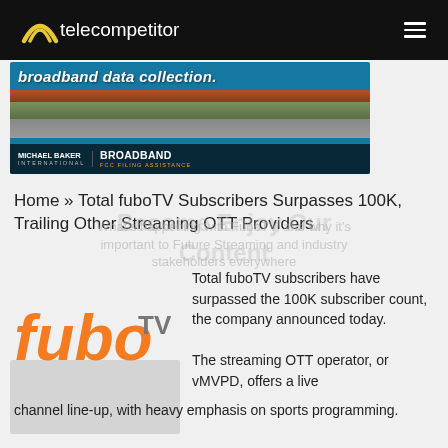telecompetitor
[Figure (photo): Advertisement banner for Michael Baker International Broadband FCC Filing Assistance showing aerial/highway imagery with text 'broadband data collection.']
Home » Total fuboTV Subscribers Surpasses 100K, Trailing Other Streaming OTT Providers
[Figure (logo): fuboTV logo in orange color with TV superscript in gray]
Total fuboTV subscribers have surpassed the 100K subscriber count, the company announced today. The streaming OTT operator, or vMVPD, offers a live channel line-up, with heavy emphasis on sports programming.